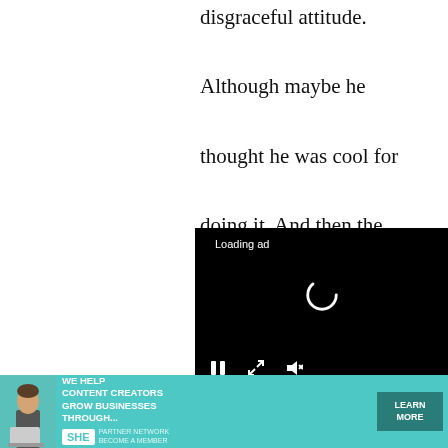disgraceful attitude. Although maybe he thought he was cool for doing it. And then the rematch in which he won. Not being able to taste the dishes I
[Figure (screenshot): Video player overlay with black background showing 'Loading ad' text, a spinning loading indicator (C-shaped arc), and video controls at the bottom including pause button, expand button, and mute button.]
The nephew
[Figure (infographic): Advertisement banner for SHE Media Partner Network. Teal/cyan background with photo of woman with laptop. Text reads 'WE HELP CONTENT CREATORS GROW BUSINESSES THROUGH...' with SHE logo and 'PARTNER NETWORK BECOME A MEMBER' text, and a 'LEARN MORE' button in dark teal.]